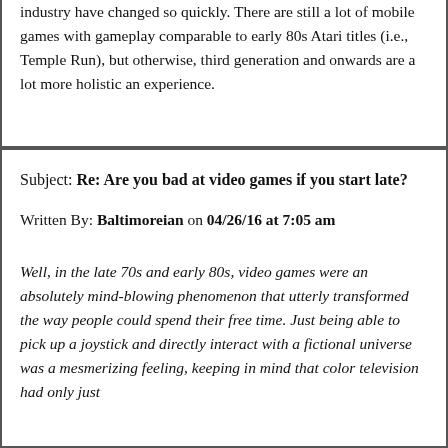industry have changed so quickly. There are still a lot of mobile games with gameplay comparable to early 80s Atari titles (i.e., Temple Run), but otherwise, third generation and onwards are a lot more holistic an experience.
Subject: Re: Are you bad at video games if you start late?
Written By: Baltimoreian on 04/26/16 at 7:05 am
Well, in the late 70s and early 80s, video games were an absolutely mind-blowing phenomenon that utterly transformed the way people could spend their free time. Just being able to pick up a joystick and directly interact with a fictional universe was a mesmerizing feeling, keeping in mind that color television had only just